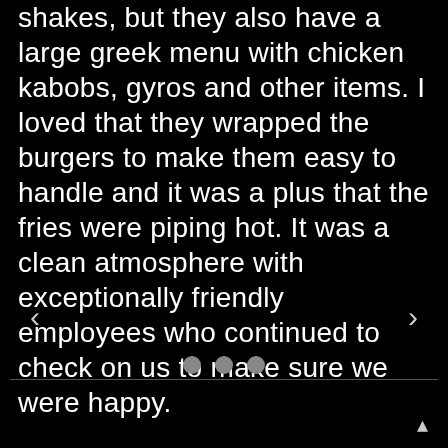shakes, but they also have a large greek menu with chicken kabobs, gyros and other items. I loved that they wrapped the burgers to make them easy to handle and it was a plus that the fries were piping hot. It was a clean atmosphere with exceptionally friendly employees who continued to check on us to make sure we were happy.